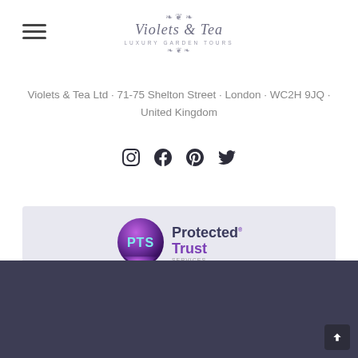[Figure (logo): Violets & Tea Luxury Garden Tours logo with ornamental flourishes and script text]
Violets & Tea Ltd · 71-75 Shelton Street · London · WC2H 9JQ · United Kingdom
[Figure (illustration): Social media icons: Instagram, Facebook, Pinterest, Twitter]
[Figure (logo): PTS Protected Trust Services logo badge]
© Copyright 2022 White Space Advertising Ltd
Privacy Policy • Terms & Conditions • Registered in England: 11543637